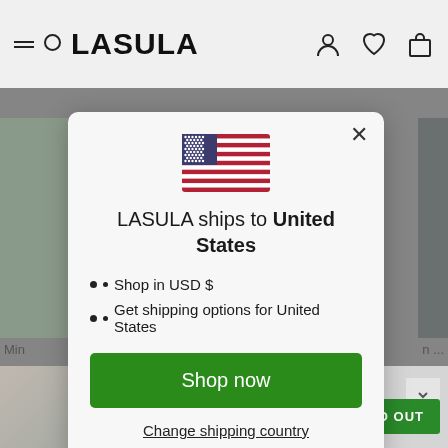LASULA
[Figure (screenshot): Modal dialog on LASULA e-commerce website showing US flag, text 'LASULA ships to United States', bullet points for USD shopping and shipping options, a green 'Shop now' button, and a 'Change shipping country' link.]
LASULA ships to United States
Shop in USD $
Get shipping options for United States
Shop now
Change shipping country
£12.00
SOLD OUT